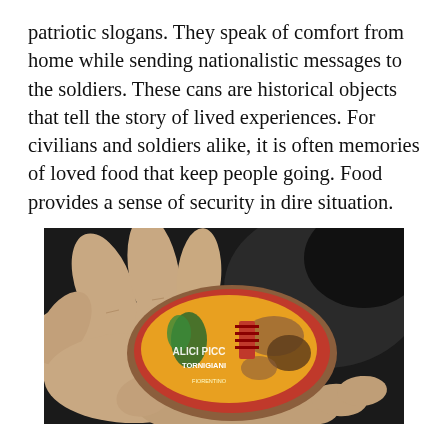patriotic slogans. They speak of comfort from home while sending nationalistic messages to the soldiers. These cans are historical objects that tell the story of lived experiences. For civilians and soldiers alike, it is often memories of loved food that keep people going. Food provides a sense of security in dire situation.
[Figure (photo): A pair of hands holding a small, worn, oval-shaped antique tin can with a partially legible label reading 'ALICI PICCANTI TORNIGIANI' and 'FIORENTINO', decorated with colorful illustrations on a red and orange background, showing significant wear and rust.]